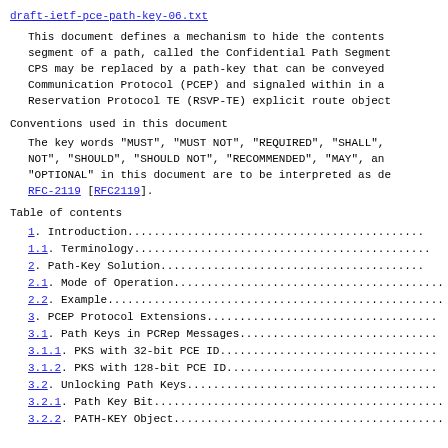draft-ietf-pce-path-key-06.txt
This document defines a mechanism to hide the contents segment of a path, called the Confidential Path Segment CPS may be replaced by a path-key that can be conveyed Communication Protocol (PCEP) and signaled within in a Reservation Protocol TE (RSVP-TE) explicit route object
Conventions used in this document
The key words "MUST", "MUST NOT", "REQUIRED", "SHALL", NOT", "SHOULD", "SHOULD NOT", "RECOMMENDED", "MAY", an "OPTIONAL" in this document are to be interpreted as de RFC-2119 [RFC2119].
Table of contents
1.  Introduction....................................
1.1. Terminology....................................
2.  Path-Key Solution...............................
2.1. Mode of Operation..............................
2.2. Example........................................
3.  PCEP Protocol Extensions........................
3.1. Path Keys in PCRep Messages....................
3.1.1. PKS with 32-bit PCE ID......................
3.1.2. PKS with 128-bit PCE ID.....................
3.2. Unlocking Path Keys............................
3.2.1. Path Key Bit.................................
3.2.2. PATH-KEY Object..............................